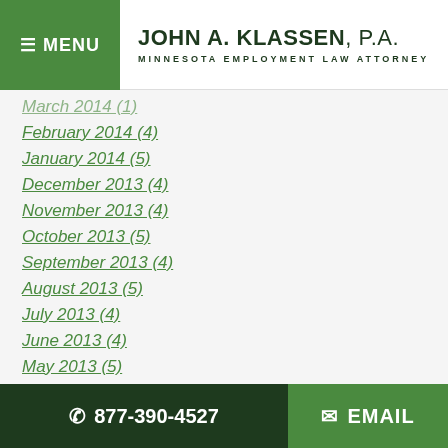MENU | JOHN A. KLASSEN, P.A. MINNESOTA EMPLOYMENT LAW ATTORNEY
March 2014 (1)
February 2014 (4)
January 2014 (5)
December 2013 (4)
November 2013 (4)
October 2013 (5)
September 2013 (4)
August 2013 (5)
July 2013 (4)
June 2013 (4)
May 2013 (5)
April 2013 (3)
March 2013 (4)
877-390-4527 | EMAIL